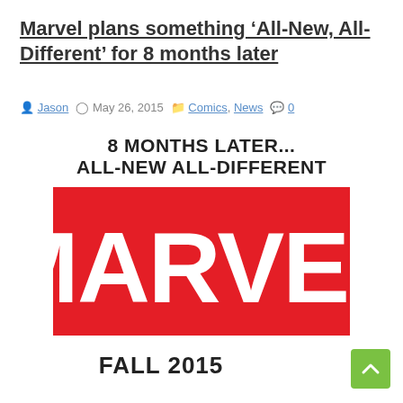Marvel plans something ‘All-New, All-Different’ for 8 months later
Jason   May 26, 2015   Comics, News   0
8 MONTHS LATER... ALL-NEW ALL-DIFFERENT
[Figure (logo): Marvel Comics logo: red rectangle with white bold letters spelling MARVEL]
FALL 2015